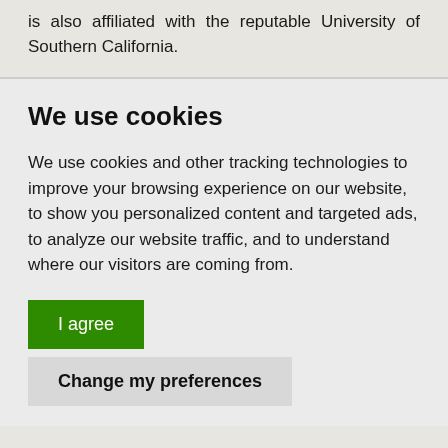is also affiliated with the reputable University of Southern California.
We use cookies
We use cookies and other tracking technologies to improve your browsing experience on our website, to show you personalized content and targeted ads, to analyze our website traffic, and to understand where our visitors are coming from.
I agree
Change my preferences